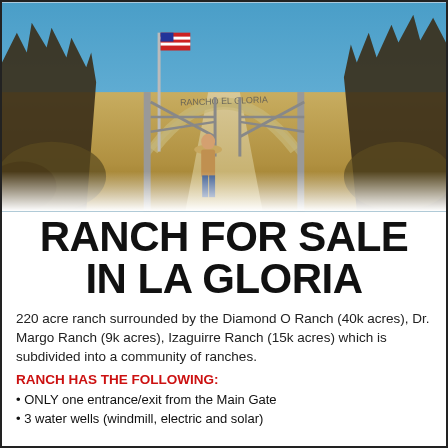[Figure (photo): Ranch entrance gate with metal arch, American flag on pole, person in cowboy hat standing at gate, dry brush and trees on both sides, dirt road leading through gate, blue sky background.]
RANCH FOR SALE IN LA GLORIA
220 acre ranch surrounded by the Diamond O Ranch (40k acres), Dr. Margo Ranch (9k acres), Izaguirre Ranch (15k acres) which is subdivided into a community of ranches.
RANCH HAS THE FOLLOWING:
ONLY one entrance/exit from the Main Gate
3 water wells (windmill, electric and solar)